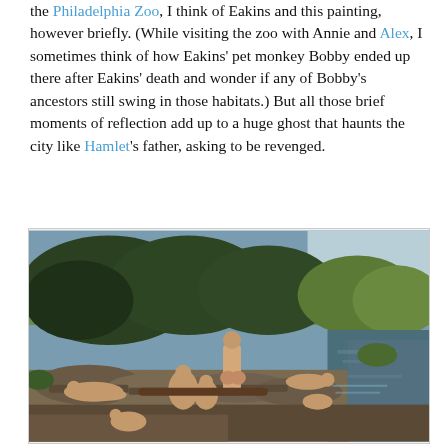the Philadelphia Zoo, I think of Eakins and this painting, however briefly. (While visiting the zoo with Annie and Alex, I sometimes think of how Eakins' pet monkey Bobby ended up there after Eakins' death and wonder if any of Bobby's ancestors still swing in those habitats.) But all those brief moments of reflection add up to a huge ghost that haunts the city like Hamlet's father, asking to be revenged.
[Figure (photo): Thomas Eakins painting of nude figures (boys/young men) resting and swimming at a rocky riverbank surrounded by lush green trees, with a calm river and pastoral landscape in the background. Several figures are posed on rocks; one stands upright viewed from behind, others recline or crouch. One figure appears to be diving into the water on the right side.]